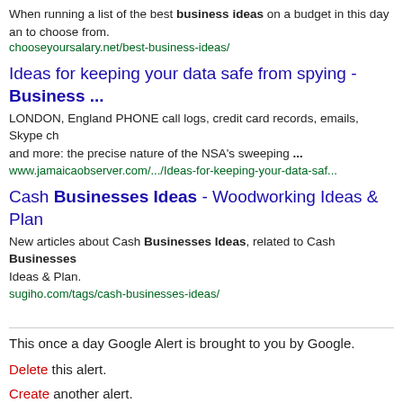When running a list of the best business ideas on a budget in this day and to choose from.
chooseyoursalary.net/best-business-ideas/
Ideas for keeping your data safe from spying - Business ...
LONDON, England PHONE call logs, credit card records, emails, Skype ch and more: the precise nature of the NSA's sweeping ...
www.jamaicaobserver.com/.../Ideas-for-keeping-your-data-saf...
Cash Businesses Ideas - Woodworking Ideas & Plan
New articles about Cash Businesses Ideas, related to Cash Businesses Ideas & Plan.
sugiho.com/tags/cash-businesses-ideas/
This once a day Google Alert is brought to you by Google.
Delete this alert.
Create another alert.
Manage your alerts.
Unknown at 6/18/2013